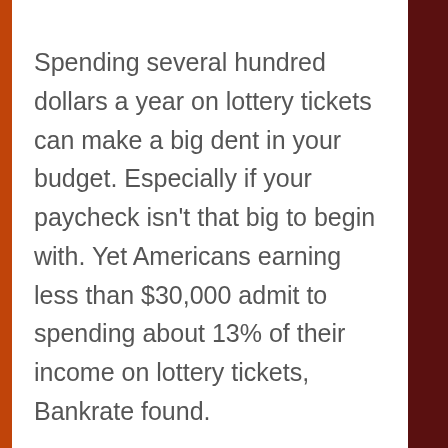Spending several hundred dollars a year on lottery tickets can make a big dent in your budget. Especially if your paycheck isn't that big to begin with. Yet Americans earning less than $30,000 admit to spending about 13% of their income on lottery tickets, Bankrate found.